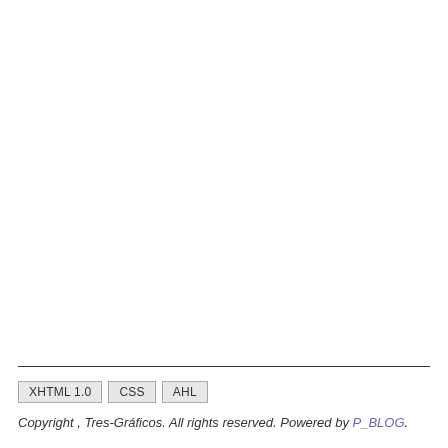XHTML 1.0  CSS  AHL
Copyright , Tres-Gráficos. All rights reserved. Powered by P_BLOG.